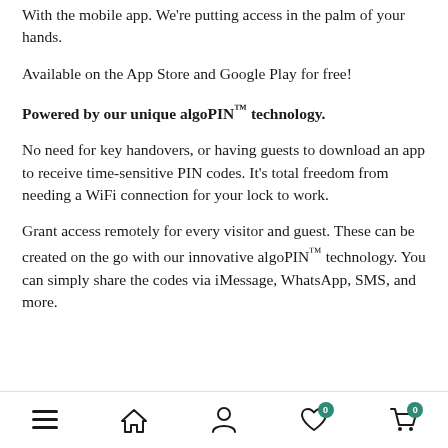With the mobile app. We're putting access in the palm of your hands.
Available on the App Store and Google Play for free!
Powered by our unique algoPIN™ technology.
No need for key handovers, or having guests to download an app to receive time-sensitive PIN codes. It's total freedom from needing a WiFi connection for your lock to work.
Grant access remotely for every visitor and guest. These can be created on the go with our innovative algoPIN™ technology. You can simply share the codes via iMessage, WhatsApp, SMS, and more.
Navigation bar with menu, home, account, wishlist (0), cart (0) icons